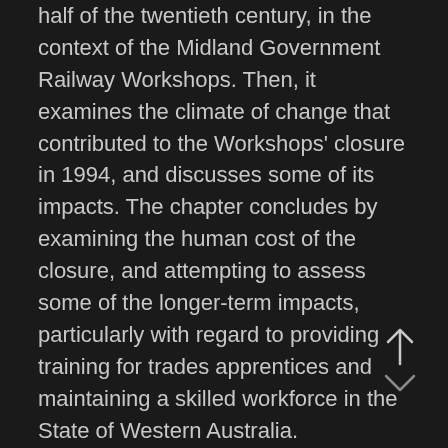half of the twentieth century, in the context of the Midland Government Railway Workshops. Then, it examines the climate of change that contributed to the Workshops' closure in 1994, and discusses some of its impacts. The chapter concludes by examining the human cost of the closure, and attempting to assess some of the longer-term impacts, particularly with regard to providing training for trades apprentices and maintaining a skilled workforce in the State of Western Australia.
Chapter 12
...